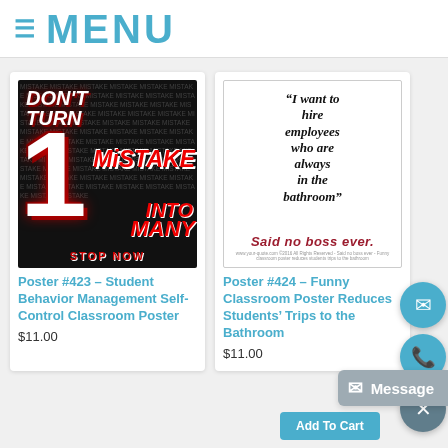≡ MENU
[Figure (photo): Poster #423 - dark background motivational poster: DON'T TURN 1 MISTAKE INTO MANY STOP NOW with red and white text on black background with repeated 'MISTAKE' watermark text]
Poster #423 – Student Behavior Management Self-Control Classroom Poster
$11.00
[Figure (photo): Poster #424 - white background funny classroom poster with quote: "I want to hire employees who are always in the bathroom" Said no boss ever.]
Poster #424 – Funny Classroom Poster Reduces Students' Trips to the Bathroom
$11.00
Add To Cart